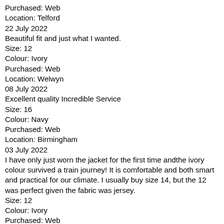Purchased: Web
Location: Telford
22 July 2022
Beautiful fit and just what I wanted.
Size: 12
Colour: Ivory
Purchased: Web
Location: Welwyn
08 July 2022
Excellent quality Incredible Service
Size: 16
Colour: Navy
Purchased: Web
Location: Birmingham
03 July 2022
I have only just worn the jacket for the first time andthe ivory colour survived a train journey! It is comfortable and both smart and practical for our climate. I usually buy size 14, but the 12 was perfect given the fabric was jersey.
Size: 12
Colour: Ivory
Purchased: Web
Location: Gillingham
01 July 2022
Nice quality and colour, comes up on the large side. Not sure it